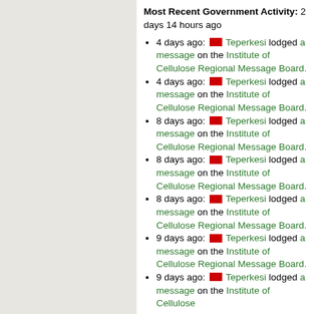Most Recent Government Activity: 2 days 14 hours ago
4 days ago: [flag] Teperkesi lodged a message on the Institute of Cellulose Regional Message Board.
4 days ago: [flag] Teperkesi lodged a message on the Institute of Cellulose Regional Message Board.
8 days ago: [flag] Teperkesi lodged a message on the Institute of Cellulose Regional Message Board.
8 days ago: [flag] Teperkesi lodged a message on the Institute of Cellulose Regional Message Board.
8 days ago: [flag] Teperkesi lodged a message on the Institute of Cellulose Regional Message Board.
9 days ago: [flag] Teperkesi lodged a message on the Institute of Cellulose Regional Message Board.
9 days ago: [flag] Teperkesi lodged a message on the Institute of Cellulose Regional Message Board.